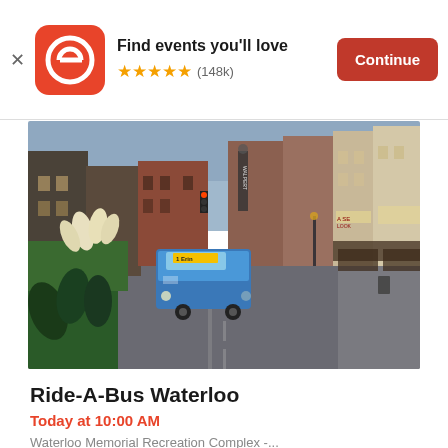[Figure (screenshot): Eventbrite app banner ad with logo, 'Find events you'll love' text, 5-star rating (148k reviews), and orange Continue button]
[Figure (photo): Street scene photo of a city downtown area with a blue transit bus driving on the road, buildings lining both sides including shops and restaurants, flowering plants in the foreground left]
Ride-A-Bus Waterloo
Today at 10:00 AM
Waterloo Memorial Recreation Complex -...
Free